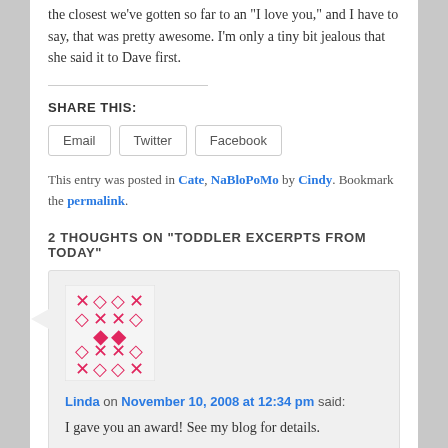the closest we've gotten so far to an “I love you,” and I have to say, that was pretty awesome. I’m only a tiny bit jealous that she said it to Dave first.
SHARE THIS:
Email  Twitter  Facebook
This entry was posted in Cate, NaBloPoMo by Cindy. Bookmark the permalink.
2 THOUGHTS ON “TODDLER EXCERPTS FROM TODAY”
[Figure (illustration): Pink decorative avatar image with geometric cross and diamond pattern]
Linda on November 10, 2008 at 12:34 pm said:
I gave you an award! See my blog for details.